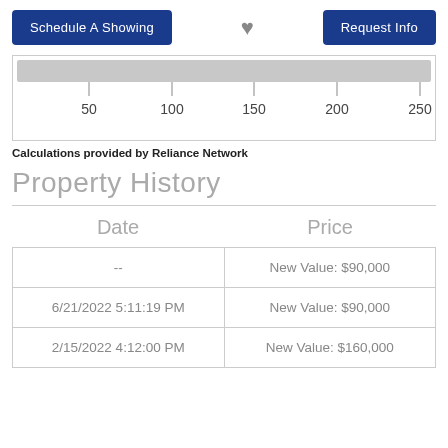Schedule A Showing | [heart] | Request Info
[Figure (continuous-plot): Horizontal axis/scale showing values 50, 100, 150, 200, 250 with a gray bar above]
Calculations provided by Reliance Network
Property History
| Date | Price |
| --- | --- |
| -- | New Value: $90,000 |
| 6/21/2022 5:11:19 PM | New Value: $90,000 |
| 2/15/2022 4:12:00 PM | New Value: $160,000 |